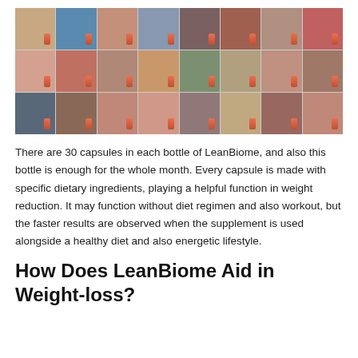[Figure (photo): Grid of 24 customer photos, each person holding or displaying a pink/orange bottle of LeanBiome supplement. Photos arranged in 3 rows of 8 columns.]
There are 30 capsules in each bottle of LeanBiome, and also this bottle is enough for the whole month. Every capsule is made with specific dietary ingredients, playing a helpful function in weight reduction. It may function without diet regimen and also workout, but the faster results are observed when the supplement is used alongside a healthy diet and also energetic lifestyle.
How Does LeanBiome Aid in Weight-loss?